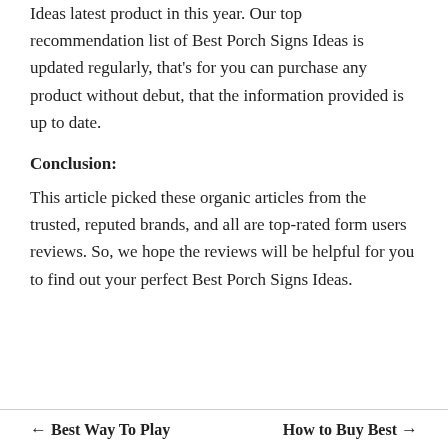Ideas latest product in this year. Our top recommendation list of Best Porch Signs Ideas is updated regularly, that's for you can purchase any product without debut, that the information provided is up to date.
Conclusion:
This article picked these organic articles from the trusted, reputed brands, and all are top-rated form users reviews. So, we hope the reviews will be helpful for you to find out your perfect Best Porch Signs Ideas.
← Best Way To Play   How to Buy Best →